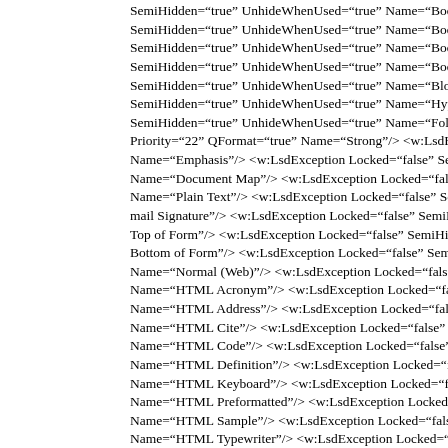SemiHidden="true" UnhideWhenUsed="true" Name="Body Te... SemiHidden="true" UnhideWhenUsed="true" Name="Body Te... SemiHidden="true" UnhideWhenUsed="true" Name="Body Te... SemiHidden="true" UnhideWhenUsed="true" Name="Body Te... SemiHidden="true" UnhideWhenUsed="true" Name="Block Te... SemiHidden="true" UnhideWhenUsed="true" Name="Hyperlin... SemiHidden="true" UnhideWhenUsed="true" Name="Followe... Priority="22" QFormat="true" Name="Strong"/> <w:LsdExcep... Name="Emphasis"/> <w:LsdException Locked="false" SemiHid... Name="Document Map"/> <w:LsdException Locked="false" Se... Name="Plain Text"/> <w:LsdException Locked="false" SemiHid... mail Signature"/> <w:LsdException Locked="false" SemiHidden... Top of Form"/> <w:LsdException Locked="false" SemiHidden="... Bottom of Form"/> <w:LsdException Locked="false" SemiHidde... Name="Normal (Web)"/> <w:LsdException Locked="false" Sem... Name="HTML Acronym"/> <w:LsdException Locked="false" Se... Name="HTML Address"/> <w:LsdException Locked="false" Ser... Name="HTML Cite"/> <w:LsdException Locked="false" SemiHi... Name="HTML Code"/> <w:LsdException Locked="false" SemiH... Name="HTML Definition"/> <w:LsdException Locked="false" S... Name="HTML Keyboard"/> <w:LsdException Locked="false" S... Name="HTML Preformatted"/> <w:LsdException Locked="fals... Name="HTML Sample"/> <w:LsdException Locked="false" Sem... Name="HTML Typewriter"/> <w:LsdException Locked="false" S... Name="HTML Variable"/> <w:LsdException Locked="false" Ser... Name="Normal Table"/> <w:LsdException Locked="false" Semi... Name="annotation subject"/> <w:LsdException Locked="false...